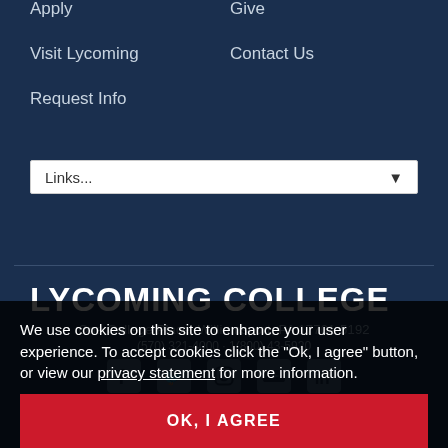Apply
Give
Visit Lycoming
Contact Us
Request Info
Links...
LYCOMING COLLEGE
One College Place, Williamsport, PA 17701-5192
(570) 321-4000 · 1(800) 43-5920
We use cookies on this site to enhance your user experience. To accept cookies click the 'Ok, I agree' button, or view our privacy statement for more information.
OK, I AGREE
Copyright © 2022 Lycoming College